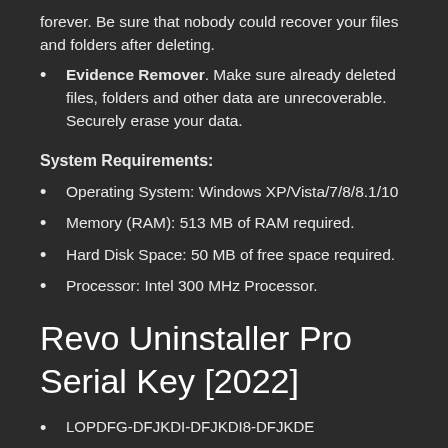forever. Be sure that nobody could recover your files and folders after deleting.
Evidence Remover. Make sure already deleted files, folders and other data are unrecoverable. Securely erase your data.
System Requirements:
Operating System: Windows XP/Vista/7/8/8.1/10
Memory (RAM): 513 MB of RAM required.
Hard Disk Space: 50 MB of free space required.
Processor: Intel 300 MHz Processor.
Revo Uninstaller Pro Serial Key [2022]
LOPDFG-DFJKDI-DFJKDI8-DFJKDE